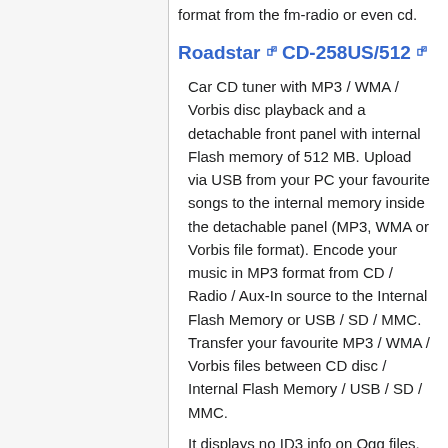format from the fm-radio or even cd.
Roadstar CD-258US/512
Car CD tuner with MP3 / WMA / Vorbis disc playback and a detachable front panel with internal Flash memory of 512 MB. Upload via USB from your PC your favourite songs to the internal memory inside the detachable panel (MP3, WMA or Vorbis file format). Encode your music in MP3 format from CD / Radio / Aux-In source to the Internal Flash Memory or USB / SD / MMC. Transfer your favourite MP3 / WMA / Vorbis files between CD disc / Internal Flash Memory / USB / SD / MMC.
It displays no ID3 info on Ogg files, but it constantly displays stats and